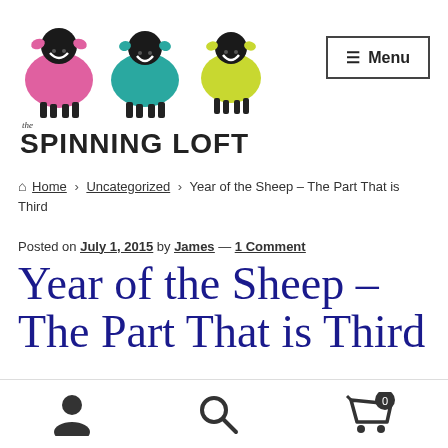[Figure (logo): The Spinning Loft logo: three cartoon sheep (pink, teal, yellow-green) above the text 'the SPINNING LOFT']
Menu
Home › Uncategorized › Year of the Sheep – The Part That is Third
Posted on July 1, 2015 by James — 1 Comment
Year of the Sheep – The Part That is Third